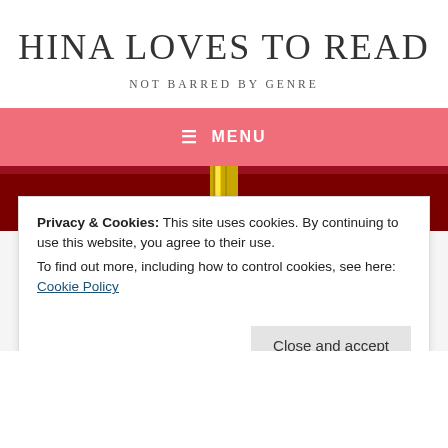HINA LOVES TO READ
NOT BARRED BY GENRE
☰  MENU
[Figure (photo): Dark red book cover strip with a yellow/gold book spine visible at center]
Privacy & Cookies: This site uses cookies. By continuing to use this website, you agree to their use.
To find out more, including how to control cookies, see here: Cookie Policy
Close and accept